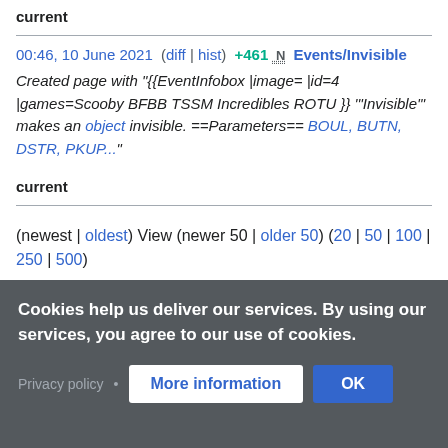current
00:46, 10 June 2021  (diff | hist)  +461  N  Events/Invisible
Created page with "{{EventInfobox |image= |id=4 |games=Scooby BFBB TSSM Incredibles ROTU }} '"Invisible'" makes an object invisible. ==Parameters== BOUL, BUTN, DSTR, PKUP..."
current
(newest | oldest) View (newer 50 | older 50) (20 | 50 | 100 | 250 | 500)
Cookies help us deliver our services. By using our services, you agree to our use of cookies.
Privacy policy • More information OK